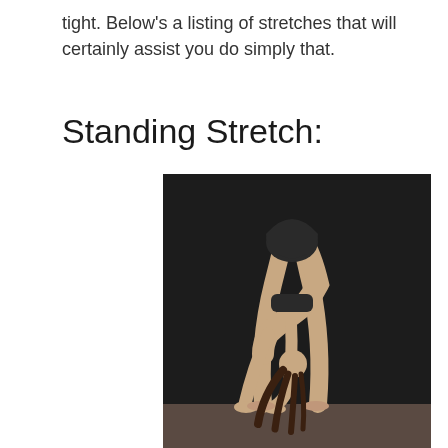tight. Below's a listing of stretches that will certainly assist you do simply that.
Standing Stretch:
[Figure (photo): A person performing a standing forward bend stretch on a yoga mat against a dark background, with hands touching the floor and head down.]